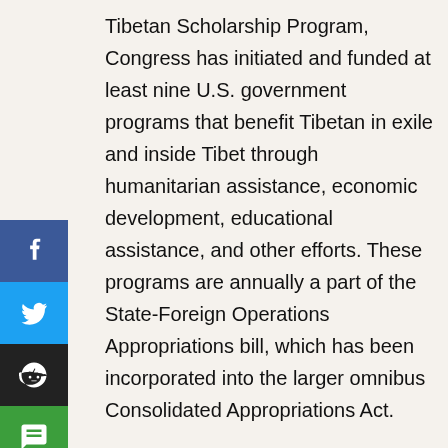Tibetan Scholarship Program, Congress has initiated and funded at least nine U.S. government programs that benefit Tibetan in exile and inside Tibet through humanitarian assistance, economic development, educational assistance, and other efforts. These programs are annually a part of the State-Foreign Operations Appropriations bill, which has been incorporated into the larger omnibus Consolidated Appropriations Act.
ICT has been advocating, since 1988, to Congress to support the Tibetans' efforts to preserve their culture, identity and traditions threatened by the oppressive policies of the Chinese government.